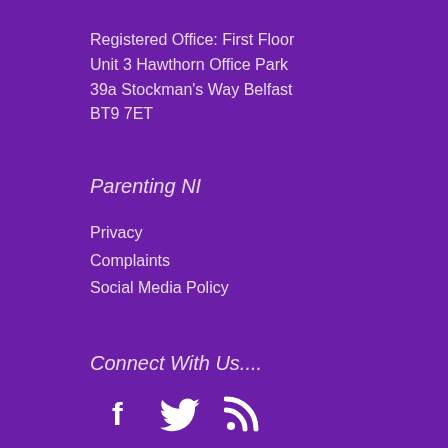Registered Office: First Floor
Unit 3 Hawthorn Office Park
39a Stockman's Way Belfast
BT9 7ET
Parenting NI
Privacy
Complaints
Social Media Policy
Connect With Us....
[Figure (other): Social media icons: Facebook, Twitter, RSS feed]